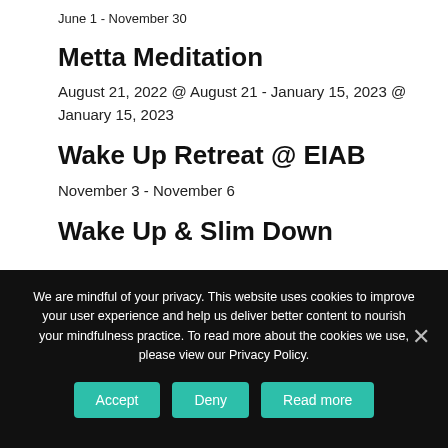June 1 - November 30
Metta Meditation
August 21, 2022 @ August 21 - January 15, 2023 @ January 15, 2023
Wake Up Retreat @ EIAB
November 3 - November 6
Wake Up & Slim Down
We are mindful of your privacy. This website uses cookies to improve your user experience and help us deliver better content to nourish your mindfulness practice. To read more about the cookies we use, please view our Privacy Policy.
Accept | Deny | Read more